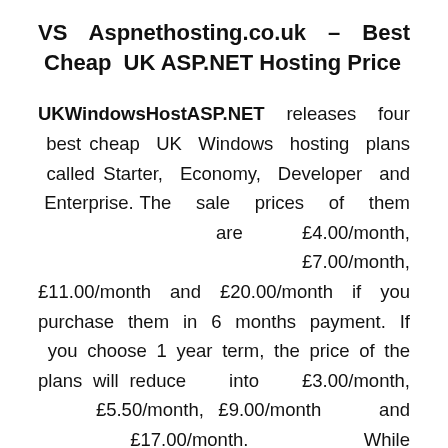VS Aspnethosting.co.uk – Best Cheap UK ASP.NET Hosting Price
UKWindowsHostASP.NET releases four best cheap UK Windows hosting plans called Starter, Economy, Developer and Enterprise. The sale prices of them are £4.00/month, £7.00/month, £11.00/month and £20.00/month if you purchase them in 6 months payment. If you choose 1 year term, the price of the plans will reduce into £3.00/month, £5.50/month, £9.00/month and £17.00/month. While Aspnethosting.co.uk launches Starter,